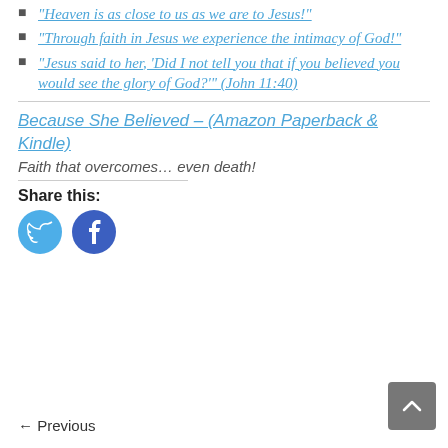"Heaven is as close to us as we are to Jesus!"
"Through faith in Jesus we experience the intimacy of God!"
"Jesus said to her, 'Did I not tell you that if you believed you would see the glory of God?'" (John 11:40)
Because She Believed – (Amazon Paperback & Kindle)
Faith that overcomes… even death!
Share this:
[Figure (illustration): Twitter share button circle icon (blue)]
[Figure (illustration): Facebook share button circle icon (dark blue)]
← Previous